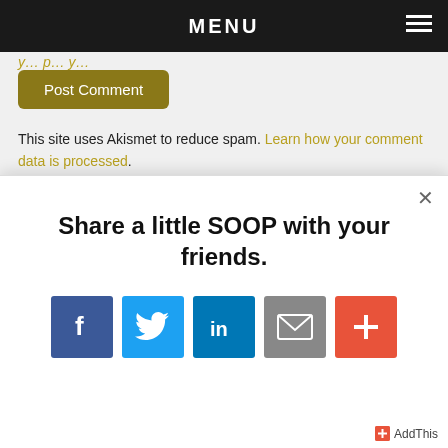MENU
y ... p ... y ...
Post Comment
This site uses Akismet to reduce spam. Learn how your comment data is processed.
[Figure (screenshot): Modal popup with social sharing icons. Title: Share a little SOOP with your friends. Icons: Facebook (blue), Twitter (light blue), LinkedIn (dark blue), Email (gray), Plus/More (orange-red). AddThis branding at bottom right.]